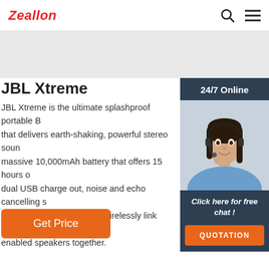Zeallon
JBL Xtreme
JBL Xtreme is the ultimate splashproof portable B that delivers earth-shaking, powerful stereo soun massive 10,000mAh battery that offers 15 hours c dual USB charge out, noise and echo cancelling s and JBL Connect that can wirelessly link multiple enabled speakers together.
[Figure (photo): Customer service representative wearing a headset, smiling]
Click here for free chat !
QUOTATION
Get Price